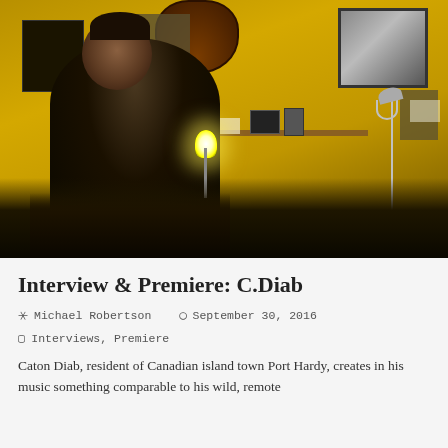[Figure (photo): A man sitting in a room with bright yellow walls, holding a bare light bulb on a stand. Behind him are a framed portrait photo, a guitar hanging on the wall, acoustic panels, and a shelf with items. The room is dim except for the glowing bulb.]
Interview & Premiere: C.Diab
Michael Robertson   September 30, 2016
Interviews, Premiere
Caton Diab, resident of Canadian island town Port Hardy, creates in his music something comparable to his wild, remote